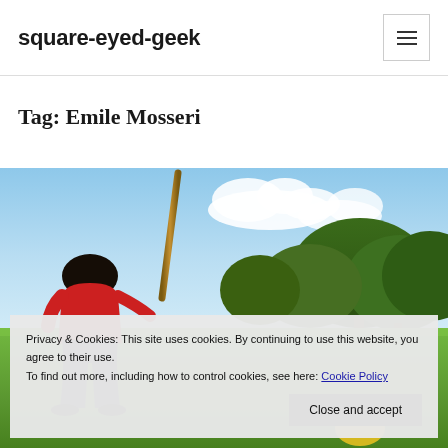square-eyed-geek
Tag: Emile Mosseri
[Figure (photo): Outdoor photo showing a person from behind holding a bat/stick, with green trees and a blue sky with clouds in the background. The person appears to be a child wearing a red shirt.]
Privacy & Cookies: This site uses cookies. By continuing to use this website, you agree to their use.
To find out more, including how to control cookies, see here: Cookie Policy
Close and accept